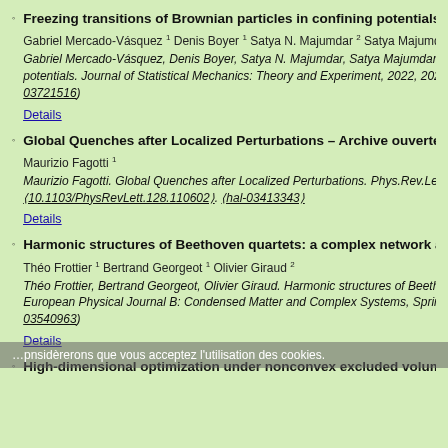Freezing transitions of Brownian particles in confining potentials – Archive ouverte HAL
Gabriel Mercado-Vásquez 1 Denis Boyer 1 Satya N. Majumdar 2 Satya Majumdar 2
Gabriel Mercado-Vásquez, Denis Boyer, Satya N. Majumdar, Satya Majumdar. Freezing transitions of Brownian particles in confining potentials. Journal of Statistical Mechanics: Theory and Experiment, 2022, 2022… (10.1088/1742-5468/ac4795). (hal-03721516)
Details
Global Quenches after Localized Perturbations – Archive ouverte HAL
Maurizio Fagotti 1
Maurizio Fagotti. Global Quenches after Localized Perturbations. Phys.Rev.Lett… (10.1103/PhysRevLett.128.110602). (hal-03413343)
Details
Harmonic structures of Beethoven quartets: a complex network approach – Archive ouverte HAL
Théo Frottier 1 Bertrand Georgeot 1 Olivier Giraud 2
Théo Frottier, Bertrand Georgeot, Olivier Giraud. Harmonic structures of Beethoven quartets… European Physical Journal B: Condensed Matter and Complex Systems, Spring… (hal-03540963)
Details
High-dimensional optimization under nonconvex excluded volume constraints – Archive ouverte HAL